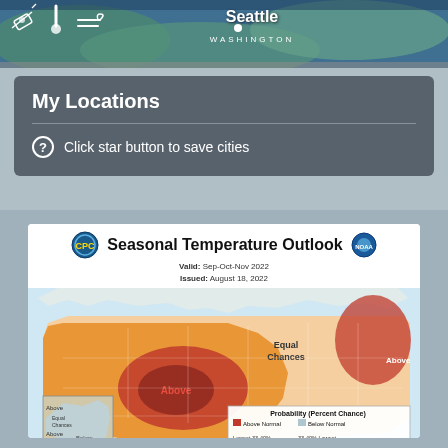[Figure (map): Satellite map showing Seattle, Washington area with weather icons (satellite, thermometer, wind) overlaid on the top left]
My Locations
Click star button to save cities
[Figure (map): NOAA Seasonal Temperature Outlook map of contiguous United States. Valid: Sep-Oct-Nov 2022. Issued: August 18, 2022. Shows probability (percent chance) of above normal temperatures across most of the US, with a deep red/dark orange 'Above' region centered in the western US/Great Plains, orange covering most of the west and south, and lighter orange/equal chances in the northern midwest. Northeast coast also shows 'Above' normal. Legend shows probability percent chance categories for Above Normal and Below Normal.]